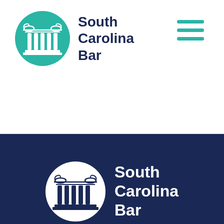[Figure (logo): South Carolina Bar logo with teal circular background featuring ionic column, with dark navy 'South Carolina Bar' text to the right, and teal hamburger menu icon on far right]
[Figure (logo): South Carolina Bar logo on dark navy background with white circular logo featuring ionic column, and white 'South Carolina Bar' text to the right]